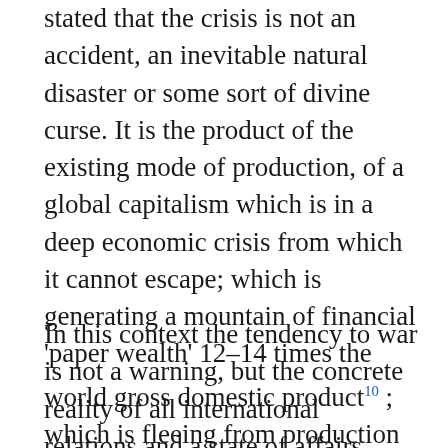stated that the crisis is not an accident, an inevitable natural disaster or some sort of divine curse. It is the product of the existing mode of production, of a global capitalism which is in a deep economic crisis from which it cannot escape; which is generating a mountain of financial 'paper wealth' 12–14 times the world gross domestic product[10]; which is fleeing from production to devote itself to the palliative of speculation because profit margins in the real economy are no longer sufficient for productive investments. In short, it is the fall in the rate of profit which accelerates capitalist competition and the clash between imperialisms.
In this context the tendency to war is not a warning, but the concrete reality of all international relations and a state of affairs which involves all the main